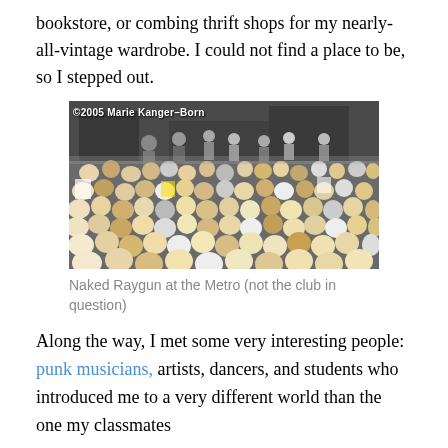bookstore, or combing thrift shops for my nearly-all-vintage wardrobe. I could not find a place to be, so I stepped out.
[Figure (photo): Black and white photo of a punk rock concert crowd at the Metro, with band members on stage and a dense crowd of young people in front, copyright 2005 Marie Kanger-Born]
Naked Raygun at the Metro (not the club in question)
Along the way, I met some very interesting people: punk musicians, artists, dancers, and students who introduced me to a very different world than the one my classmates